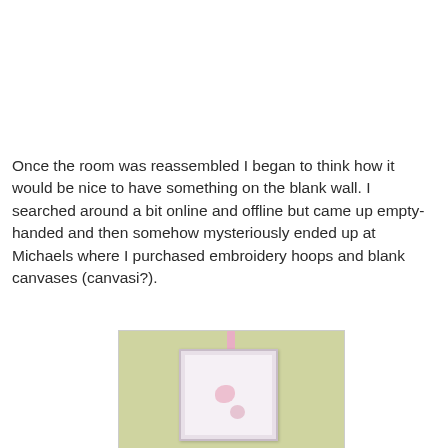Once the room was reassembled I began to think how it would be nice to have something on the blank wall. I searched around a bit online and offline but came up empty-handed and then somehow mysteriously ended up at Michaels where I purchased embroidery hoops and blank canvases (canvasi?).
[Figure (photo): A white rectangular frame with a pink ribbon/strap hanging on a yellow-green wall, containing embroidery or artwork with pink floral decorations inside.]